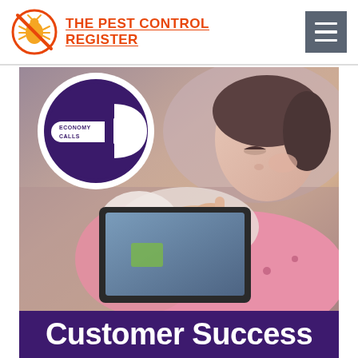THE PEST CONTROL REGISTER
[Figure (logo): Economy Calls logo: dark purple circle with white border, white 'E' arrow shape on right, text 'ECONOMY CALLS' inside on white pill shape]
[Figure (photo): Woman in pink polka-dot top looking down, using a tablet device, blurred background]
Customer Success